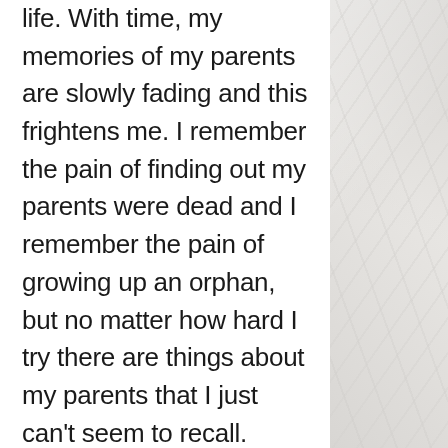life. With time, my memories of my parents are slowly fading and this frightens me. I remember the pain of finding out my parents were dead and I remember the pain of growing up an orphan, but no matter how hard I try there are things about my parents that I just can't seem to recall. There are, however, random things that remind me of emotions attached to the essence of who my parents were as people. I know this may seem strange, but there are memories I feel are lodged in my heart and not my brain. Allow me to explain using the example of the houndstooth pattern.
About six or seven years ago, one of my very good friends bought me a pair of